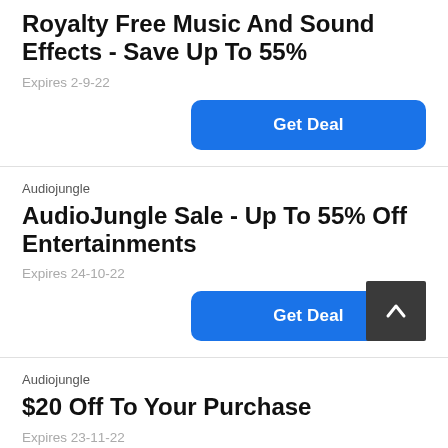Royalty Free Music And Sound Effects - Save Up To 55%
Expires 2-9-22
Get Deal
Audiojungle
AudioJungle Sale - Up To 55% Off Entertainments
Expires 24-10-22
Get Deal
Audiojungle
$20 Off To Your Purchase
Expires 23-11-22